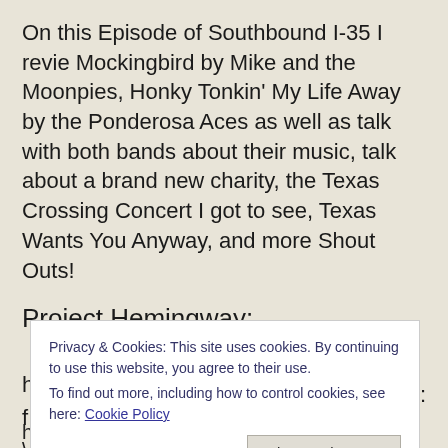On this Episode of Southbound I-35 I revie Mockingbird by Mike and the Moonpies, Honky Tonkin' My Life Away by the Ponderosa Aces as well as talk with both bands about their music, talk about a brand new charity, the Texas Crossing Concert I got to see, Texas Wants You Anyway, and more Shout Outs!
Project Hemingway:
Privacy & Cookies: This site uses cookies. By continuing to use this website, you agree to their use.
To find out more, including how to control cookies, see here: Cookie Policy
http://www.saltcedarrebels.com